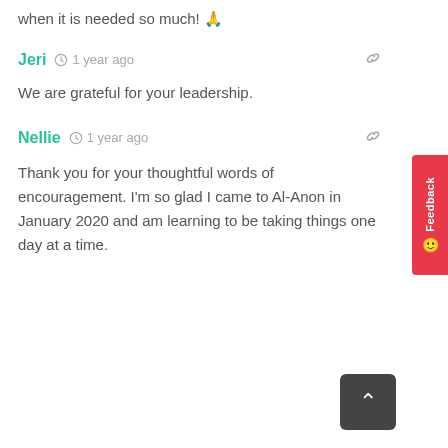when it is needed so much! 🙏
Jeri  ·  1 year ago
We are grateful for your leadership.
Nellie  ·  1 year ago
Thank you for your thoughtful words of encouragement. I'm so glad I came to Al-Anon in January 2020 and am learning to be taking things one day at a time.